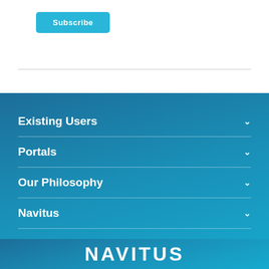Subscribe
Existing Users
Portals
Our Philosophy
Navitus
NAVITUS